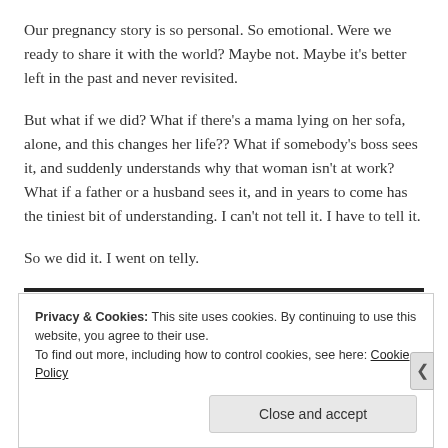Our pregnancy story is so personal. So emotional. Were we ready to share it with the world? Maybe not. Maybe it's better left in the past and never revisited.
But what if we did? What if there's a mama lying on her sofa, alone, and this changes her life?? What if somebody's boss sees it, and suddenly understands why that woman isn't at work? What if a father or a husband sees it, and in years to come has the tiniest bit of understanding. I can't not tell it. I have to tell it.
So we did it. I went on telly.
Privacy & Cookies: This site uses cookies. By continuing to use this website, you agree to their use.
To find out more, including how to control cookies, see here: Cookie Policy